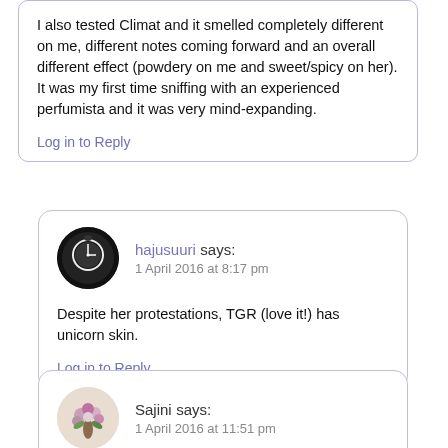I also tested Climat and it smelled completely different on me, different notes coming forward and an overall different effect (powdery on me and sweet/spicy on her). It was my first time sniffing with an experienced perfumista and it was very mind-expanding.
Log in to Reply
hajusuuri says:
1 April 2016 at 8:17 pm
Despite her protestations, TGR (love it!) has unicorn skin.
Log in to Reply
Sajini says:
1 April 2016 at 11:51 pm